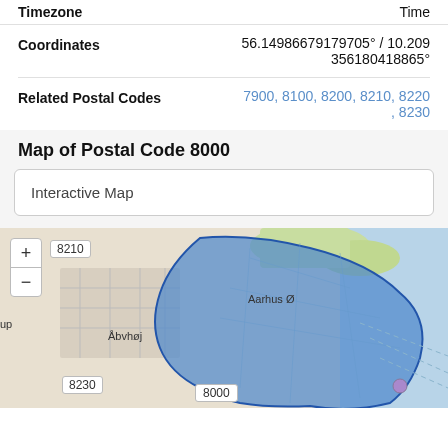Timezone / Time
Coordinates: 56.14986679179705° / 10.209356180418865°
Related Postal Codes: 7900, 8100, 8200, 8210, 8220, 8230
Map of Postal Code 8000
Interactive Map
[Figure (map): Interactive map showing postal code 8000 in Aarhus, Denmark. A blue shaded region marks the 8000 postal area. Neighboring areas labeled include 8210 (top), 8230 (bottom left), and 8000 (center bottom). Place name Aarhus Ø visible. Map includes zoom in (+) and zoom out (-) controls.]